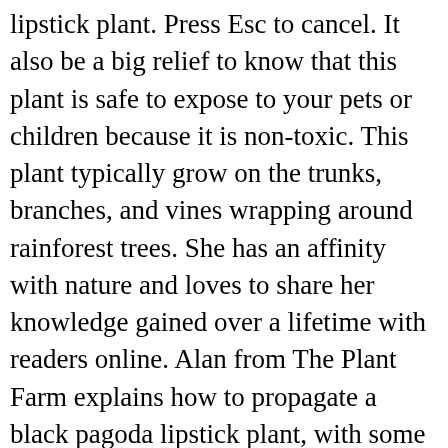lipstick plant. Press Esc to cancel. It also be a big relief to know that this plant is safe to expose to your pets or children because it is non-toxic. This plant typically grow on the trunks, branches, and vines wrapping around rainforest trees. She has an affinity with nature and loves to share her knowledge gained over a lifetime with readers online. Alan from The Plant Farm explains how to propagate a black pagoda lipstick plant, with some help from a friend. If you follow the directions, your lipstick plant will be more than happy in the long run and produce a lot of beautiful flowers. Avoid placing the plant in full shade or full sun. The lipstick plant, lke many others, will definitely require some work in order to properly grow and maintain, but the results will surely be worth it. Keep it there for a few more weeks for the roots to strengthen, then transfer the cutting to a